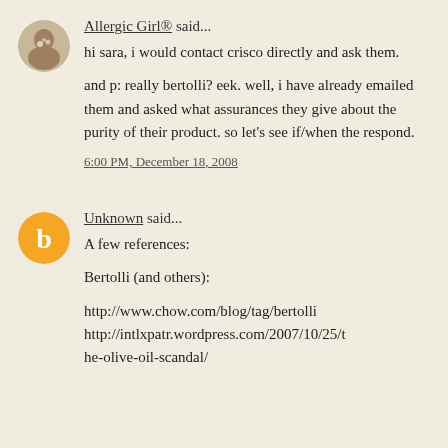Allergic Girl® said...
hi sara, i would contact crisco directly and ask them.

and p: really bertolli? eek. well, i have already emailed them and asked what assurances they give about the purity of their product. so let's see if/when the respond.
6:00 PM, December 18, 2008
Unknown said...
A few references:

Bertolli (and others):

http://www.chow.com/blog/tag/bertolli
http://intlxpatr.wordpress.com/2007/10/25/the-olive-oil-scandal/